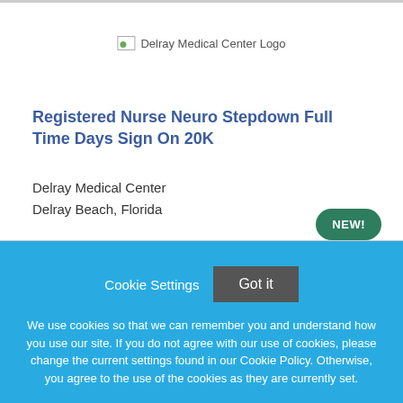[Figure (logo): Delray Medical Center Logo placeholder image]
Registered Nurse Neuro Stepdown Full Time Days Sign On 20K
Delray Medical Center
Delray Beach, Florida
NEW!
Cookie Settings
Got it
We use cookies so that we can remember you and understand how you use our site. If you do not agree with our use of cookies, please change the current settings found in our Cookie Policy. Otherwise, you agree to the use of the cookies as they are currently set.